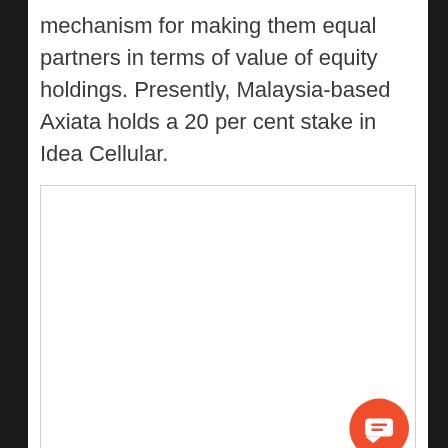mechanism for making them equal partners in terms of value of equity holdings. Presently, Malaysia-based Axiata holds a 20 per cent stake in Idea Cellular.
[Figure (other): Empty white box with a border, likely an image placeholder. An orange circular chat/comment button icon is visible in the bottom-right corner of the box.]